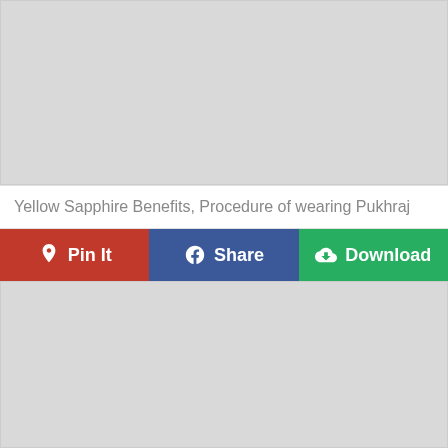[Figure (other): Gray placeholder image area (top)]
Yellow Sapphire Benefits, Procedure of wearing Pukhraj
[Figure (infographic): Social sharing button row with three buttons: Pin It (red, Pinterest), Share (blue, Facebook), Download (green, cloud download icon)]
[Figure (other): Gray placeholder image area (bottom)]